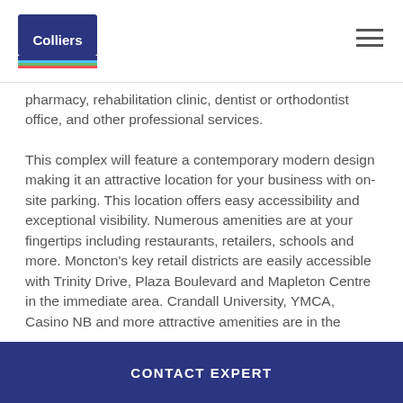Colliers
pharmacy, rehabilitation clinic, dentist or orthodontist office, and other professional services.
This complex will feature a contemporary modern design making it an attractive location for your business with on-site parking. This location offers easy accessibility and exceptional visibility. Numerous amenities are at your fingertips including restaurants, retailers, schools and more. Moncton's key retail districts are easily accessible with Trinity Drive, Plaza Boulevard and Mapleton Centre in the immediate area. Crandall University, YMCA, Casino NB and more attractive amenities are in the immediate surrounding area. There's also
CONTACT EXPERT